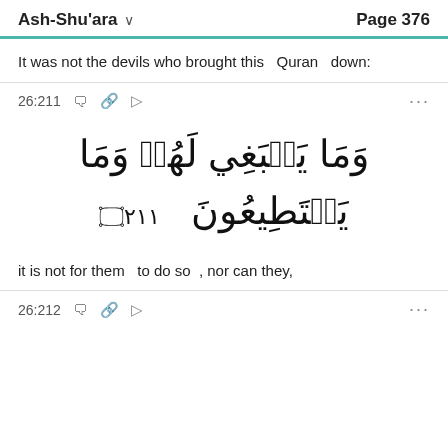Ash-Shu'ara   Page 376
It was not the devils who brought this   Quran   down:
26:211
[Figure (other): Arabic Quran verse 26:211 with verse number circle: وَمَا يَنۢبَغِي لَهُمۡ وَمَا يَسۡتَطِيعُونَ]
it is not for them   to do so  , nor can they,
26:212